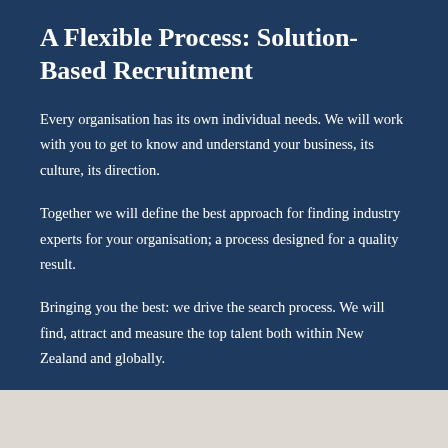A Flexible Process: Solution-Based Recruitment
Every organisation has its own individual needs. We will work with you to get to know and understand your business, its culture, its direction.
Together we will define the best approach for finding industry experts for your organisation; a process designed for a quality result.
Bringing you the best: we drive the search process. We will find, attract and measure the top talent both within New Zealand and globally.